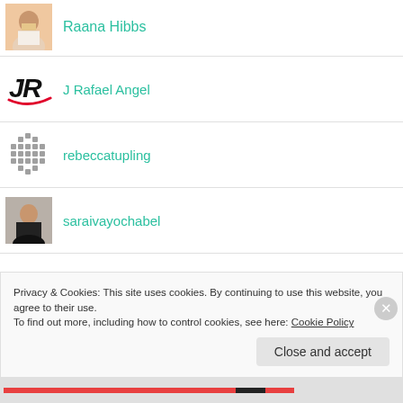Raana Hibbs
J Rafael Angel
rebeccatupling
saraivayochabel
smfriesen
Privacy & Cookies: This site uses cookies. By continuing to use this website, you agree to their use. To find out more, including how to control cookies, see here: Cookie Policy
Close and accept